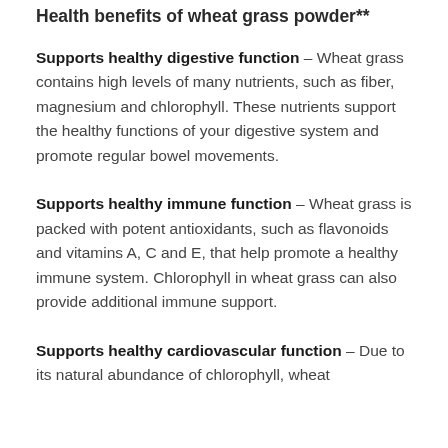Health benefits of wheat grass powder**
Supports healthy digestive function – Wheat grass contains high levels of many nutrients, such as fiber, magnesium and chlorophyll. These nutrients support the healthy functions of your digestive system and promote regular bowel movements.
Supports healthy immune function – Wheat grass is packed with potent antioxidants, such as flavonoids and vitamins A, C and E, that help promote a healthy immune system. Chlorophyll in wheat grass can also provide additional immune support.
Supports healthy cardiovascular function – Due to its natural abundance of chlorophyll, wheat…